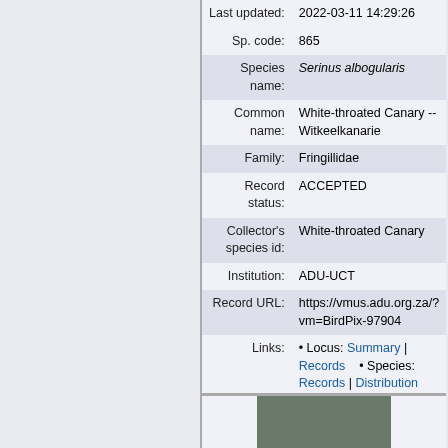| Field | Value |
| --- | --- |
| Last updated: | 2022-03-11 14:29:26 |
| Sp. code: | 865 |
| Species name: | Serinus albogularis |
| Common name: | White-throated Canary -- Witkeelkanarie |
| Family: | Fringillidae |
| Record status: | ACCEPTED |
| Collector's species id: | White-throated Canary |
| Institution: | ADU-UCT |
| Record URL: | https://vmus.adu.org.za/?vm=BirdPix-97904 |
| Links: | • Locus: Summary | Records   • Species: Records | Distribution map |
[Figure (photo): Partial photo of a bird (White-throated Canary) visible at bottom of page]